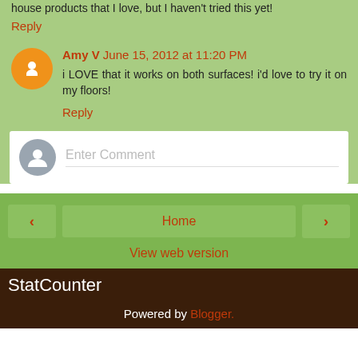house products that I love, but I haven't tried this yet!
Reply
Amy V June 15, 2012 at 11:20 PM
i LOVE that it works on both surfaces! i'd love to try it on my floors!
Reply
[Figure (other): Enter Comment input box with gray avatar icon]
Home
View web version
StatCounter
Powered by Blogger.